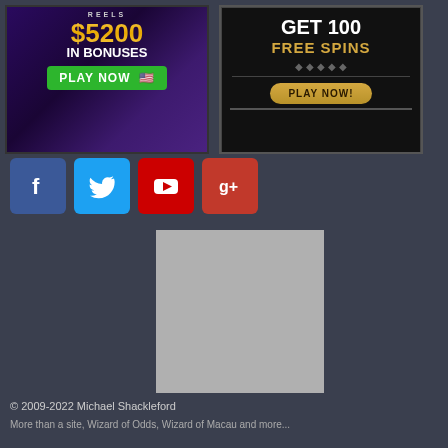[Figure (illustration): Casino bonus advertisement banner: '$5200 IN BONUSES PLAY NOW' with US flag, purple/dark background with slot machine imagery]
[Figure (illustration): Casino free spins advertisement banner: 'GET 100 FREE SPINS PLAY NOW!' on dark/black art deco background with gold button]
[Figure (illustration): Social media icons row: Facebook (blue), Twitter (light blue), YouTube (red), Google+ (dark red/orange)]
[Figure (illustration): Gray placeholder/advertisement box]
© 2009-2022 Michael Shackleford
More than a site, Wizard of Odds, Wizard of Macau and more...